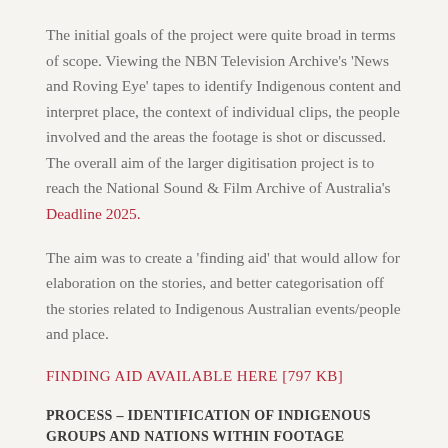The initial goals of the project were quite broad in terms of scope. Viewing the NBN Television Archive's 'News and Roving Eye' tapes to identify Indigenous content and interpret place, the context of individual clips, the people involved and the areas the footage is shot or discussed. The overall aim of the larger digitisation project is to reach the National Sound & Film Archive of Australia's Deadline 2025.
The aim was to create a 'finding aid' that would allow for elaboration on the stories, and better categorisation off the stories related to Indigenous Australian events/people and place.
FINDING AID AVAILABLE HERE [797 KB]
PROCESS – IDENTIFICATION OF INDIGENOUS GROUPS AND NATIONS WITHIN FOOTAGE